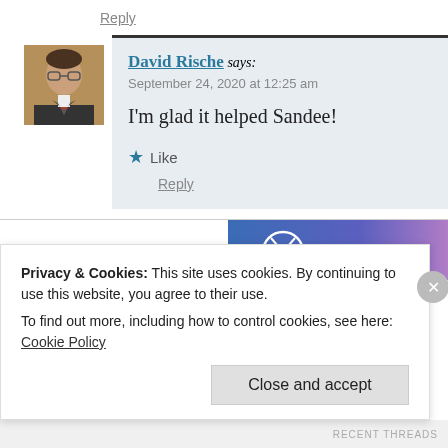Reply
David Rische says:
September 24, 2020 at 12:25 am

I'm glad it helped Sandee!

★ Like

Reply
Privacy & Cookies: This site uses cookies. By continuing to use this website, you agree to their use.
To find out more, including how to control cookies, see here: Cookie Policy

Close and accept